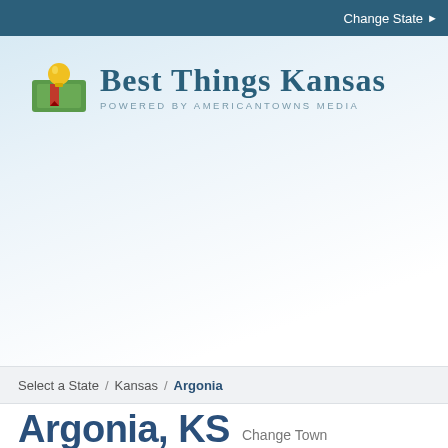Change State ▶
[Figure (logo): Best Things Kansas logo — green book with yellow lightbulb and red ribbon bookmark, beside the text 'BEST THINGS KANSAS' in teal serif font with 'POWERED BY AMERICANTOWNS MEDIA' in small grey caps beneath]
Select a State / Kansas / Argonia
Argonia, KS Change Town